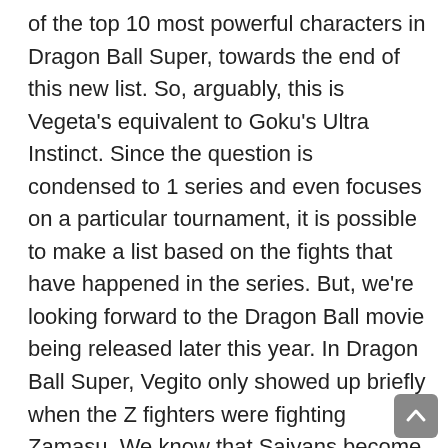of the top 10 most powerful characters in Dragon Ball Super, towards the end of this new list. So, arguably, this is Vegeta's equivalent to Goku's Ultra Instinct. Since the question is condensed to 1 series and even focuses on a particular tournament, it is possible to make a list based on the fights that have happened in the series. But, we're looking forward to the Dragon Ball movie being released later this year. In Dragon Ball Super, Vegito only showed up briefly when the Z fighters were fighting Zamasu. We know that Saiyans become stronger as they fight, but MUI could take that ability to an entirely new level. Today, The Fresh Committee is one of the leading new-media brands for the next generation of influencers, trend setters and taste makers. You Won't Believe Who Is the Most